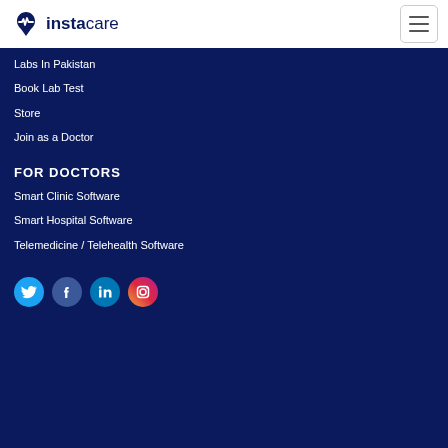[Figure (logo): Instacare logo with heart/waveform icon and brand name]
Labs In Pakistan
Book Lab Test
Store
Join as a Doctor
FOR DOCTORS
Smart Clinic Software
Smart Hospital Software
Telemedicine / Telehealth Software
[Figure (infographic): Social media icons: Twitter (blue bird), Facebook (blue f), LinkedIn (blue in), Instagram (gradient camera)]